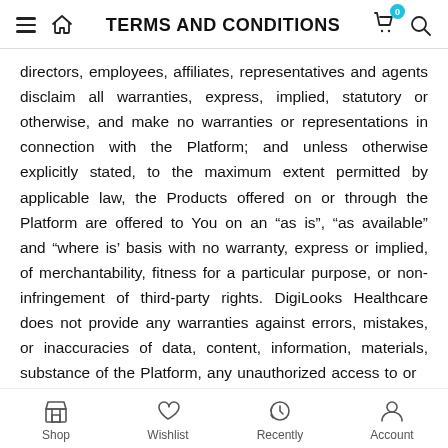TERMS AND CONDITIONS
directors, employees, affiliates, representatives and agents disclaim all warranties, express, implied, statutory or otherwise, and make no warranties or representations in connection with the Platform; and unless otherwise explicitly stated, to the maximum extent permitted by applicable law, the Products offered on or through the Platform are offered to You on an “as is”, “as available” and “where is’ basis with no warranty, express or implied, of merchantability, fitness for a particular purpose, or non-infringement of third-party rights. DigiLooks Healthcare does not provide any warranties against errors, mistakes, or inaccuracies of data, content, information, materials, substance of the Platform, any unauthorized access to or
Shop | Wishlist | Recently | Account